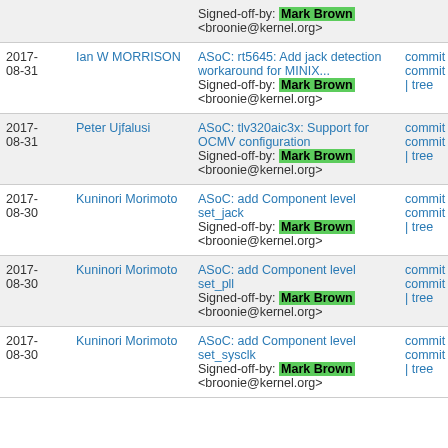| Date | Author | Description | Links |
| --- | --- | --- | --- |
|  |  | Signed-off-by: Mark Brown <broonie@kernel.org> |  |
| 2017-08-31 | Ian W MORRISON | ASoC: rt5645: Add jack detection workaround for MINIX...
Signed-off-by: Mark Brown <broonie@kernel.org> | commit commit | tree |
| 2017-08-31 | Peter Ujfalusi | ASoC: tlv320aic3x: Support for OCMV configuration
Signed-off-by: Mark Brown <broonie@kernel.org> | commit commit | tree |
| 2017-08-30 | Kuninori Morimoto | ASoC: add Component level set_jack
Signed-off-by: Mark Brown <broonie@kernel.org> | commit commit | tree |
| 2017-08-30 | Kuninori Morimoto | ASoC: add Component level set_pll
Signed-off-by: Mark Brown <broonie@kernel.org> | commit commit | tree |
| 2017-08-30 | Kuninori Morimoto | ASoC: add Component level set_sysclk
Signed-off-by: Mark Brown <broonie@kernel.org> | commit commit | tree |